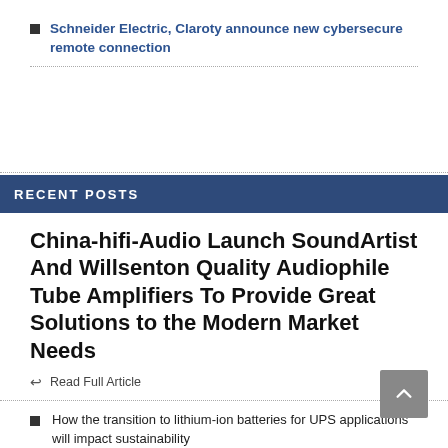Schneider Electric, Claroty announce new cybersecure remote connection
RECENT POSTS
China-hifi-Audio Launch SoundArtist And Willsenton Quality Audiophile Tube Amplifiers To Provide Great Solutions to the Modern Market Needs
Read Full Article
How the transition to lithium-ion batteries for UPS applications will impact sustainability
Schneider Electric, Claroty announce new cybersecure remote connection
Erste Group Bank Lowers Schneider Electric S.E.